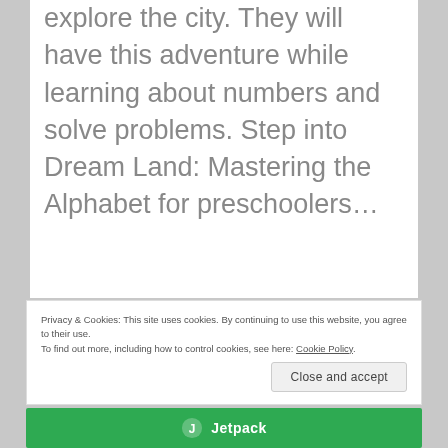explore the city. They will have this adventure while learning about numbers and solve problems. Step into Dream Land: Mastering the Alphabet for preschoolers…
Privacy & Cookies: This site uses cookies. By continuing to use this website, you agree to their use.
To find out more, including how to control cookies, see here: Cookie Policy.
Close and accept
[Figure (logo): Jetpack logo with green background and white Jetpack text]